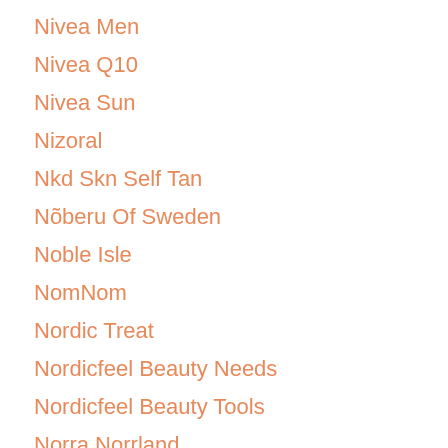Nivea Men
Nivea Q10
Nivea Sun
Nizoral
Nkd Skn Self Tan
Nõberu Of Sweden
Noble Isle
NomNom
Nordic Treat
Nordicfeel Beauty Needs
Nordicfeel Beauty Tools
Norra Norrland